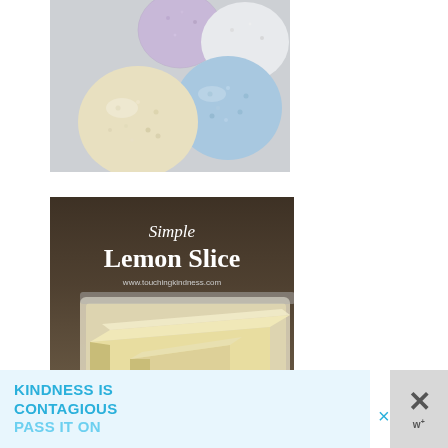[Figure (photo): Photo of powdery bath bombs or lamington-style cupcakes dusted in coconut/powdered sugar in white, yellow, blue, and lavender colors on a marble surface]
[Figure (photo): Photo of Simple Lemon Slice bars on a baking tray, with white text overlay reading 'Simple Lemon Slice' and website www.touchingkindness.com on a dark blurred background]
KINDNESS IS CONTAGIOUS
PASS IT ON